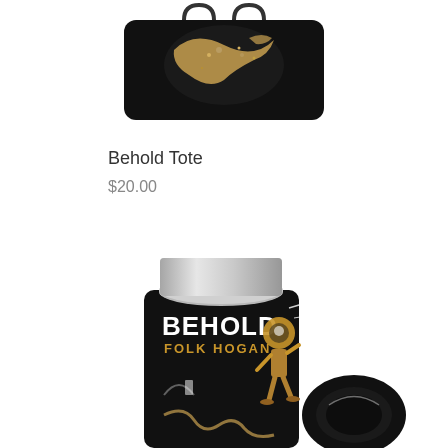[Figure (photo): Black tote bag with golden dragon/snake illustration on dark background, shown partially cropped at top of page]
Behold Tote
$20.00
[Figure (photo): Black can koozie/cooler with 'BEHOLD FOLK HOGAN' text and artwork showing a robot/skeleton figure walking, with a silver beverage can inserted. A circular black koozie is visible in the bottom right corner.]